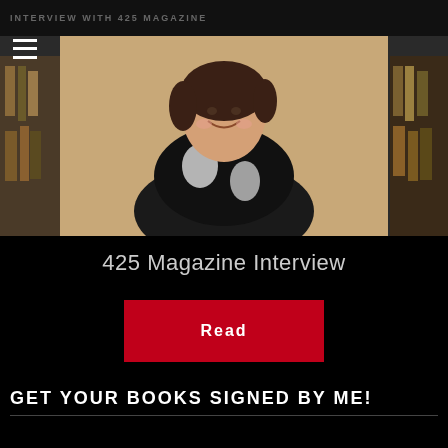INTERVIEW WITH 425 MAGAZINE
[Figure (photo): Woman smiling in a bookstore, wearing black and white patterned top, seated among bookshelves]
425 Magazine Interview
Read
GET YOUR BOOKS SIGNED BY ME!